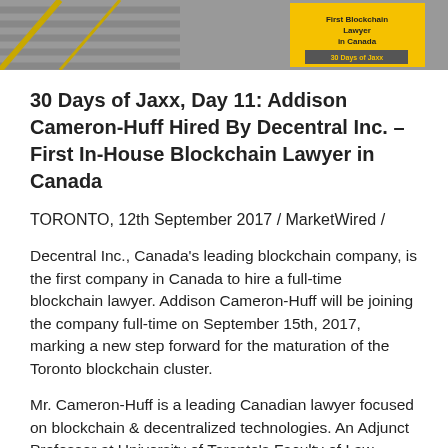[Figure (photo): Photo showing stairs with metal railings and a yellow sign reading 'First Blockchain Lawyer in Canada / 30 Days of Jaxx']
30 Days of Jaxx, Day 11: Addison Cameron-Huff Hired By Decentral Inc. – First In-House Blockchain Lawyer in Canada
TORONTO, 12th September 2017 / MarketWired /
Decentral Inc., Canada's leading blockchain company, is the first company in Canada to hire a full-time blockchain lawyer. Addison Cameron-Huff will be joining the company full-time on September 15th, 2017, marking a new step forward for the maturation of the Toronto blockchain cluster.
Mr. Cameron-Huff is a leading Canadian lawyer focused on blockchain & decentralized technologies. An Adjunct Professor at University of Toronto's Faculty of Law